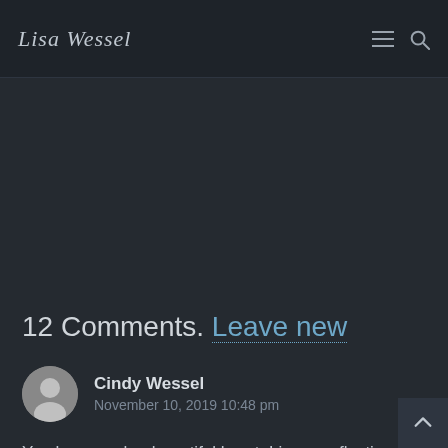Lisa Wessel
12 Comments. Leave new
Cindy Wessel
November 10, 2019 10:48 pm
You have such a beautiful heart, Lisa, a reflection of God's heart. Thank you for sharing this.
Reply